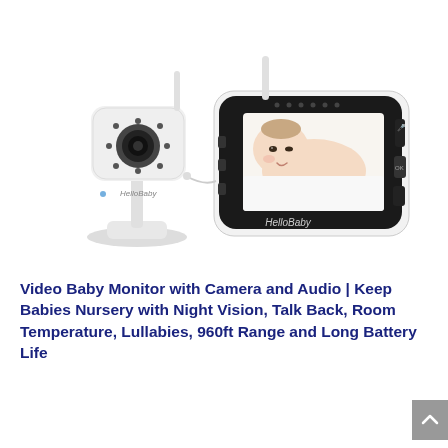[Figure (photo): HelloBaby video baby monitor product photo showing a white camera unit on the left and a white handheld monitor with a black screen displaying a sleeping baby on the right. Both units show the HelloBaby brand name.]
Video Baby Monitor with Camera and Audio | Keep Babies Nursery with Night Vision, Talk Back, Room Temperature, Lullabies, 960ft Range and Long Battery Life